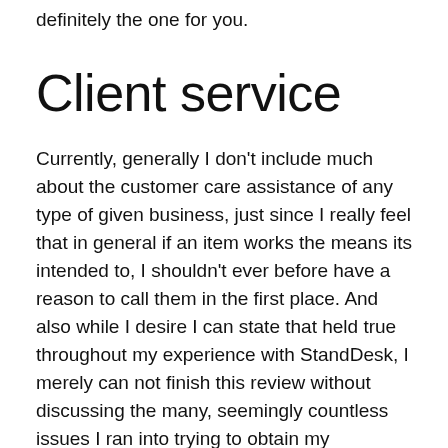definitely the one for you.
Client service
Currently, generally I don't include much about the customer care assistance of any type of given business, just since I really feel that in general if an item works the means its intended to, I shouldn't ever before have a reason to call them in the first place. And also while I desire I can state that held true throughout my experience with StandDesk, I merely can not finish this review without discussing the many, seemingly countless issues I ran into trying to obtain my workdesk put together.
For starters, the desk I was sent out really